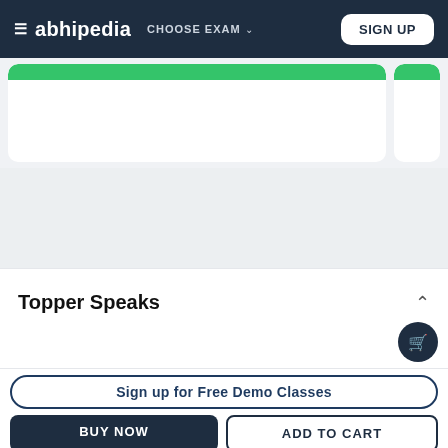≡ abhipedia  CHOOSE EXAM ∨  SIGN UP
[Figure (screenshot): Partially visible course card with green top bar and white card body]
[Figure (screenshot): Gray empty spacer section]
Topper Speaks
Sign up for Free Demo Classes
BUY NOW
ADD TO CART